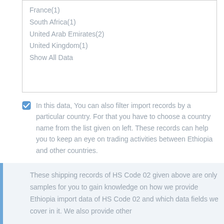France(1)
South Africa(1)
United Arab Emirates(2)
United Kingdom(1)
Show All Data
In this data, You can also filter import records by a particular country. For that you have to choose a country name from the list given on left. These records can help you to keep an eye on trading activities between Ethiopia and other countries.
These shipping records of HS Code 02 given above are only samples for you to gain knowledge on how we provide Ethiopia import data of HS Code 02 and which data fields we cover in it. We also provide other